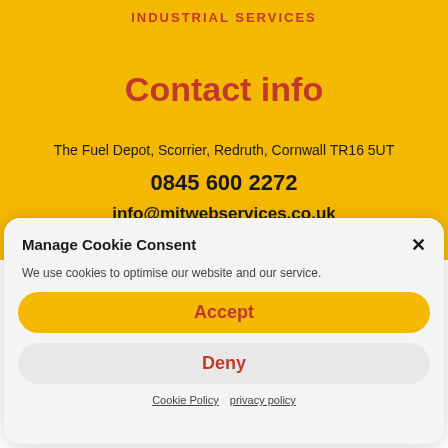INDUSTRIAL SERVICES
Contact info
The Fuel Depot, Scorrier, Redruth, Cornwall TR16 5UT
0845 600 2272
info@mitwebservices.co.uk
Manage Cookie Consent
We use cookies to optimise our website and our service.
Accept
Deny
Cookie Policy   privacy policy